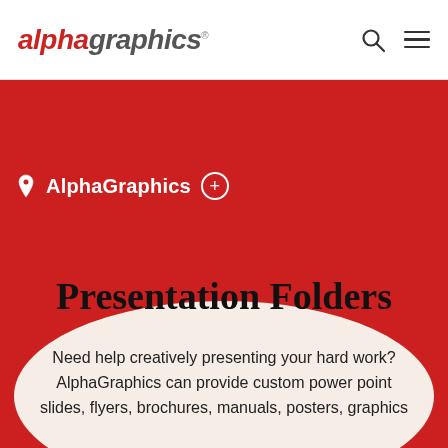[Figure (logo): AlphaGraphics logo in red and grey italic text with a circle element]
AlphaGraphics (navigation bar with search and menu icons)
AlphaGraphics +
Presentation Folders
Need help creatively presenting your hard work? AlphaGraphics can provide custom power point slides, flyers, brochures, manuals, posters, graphics